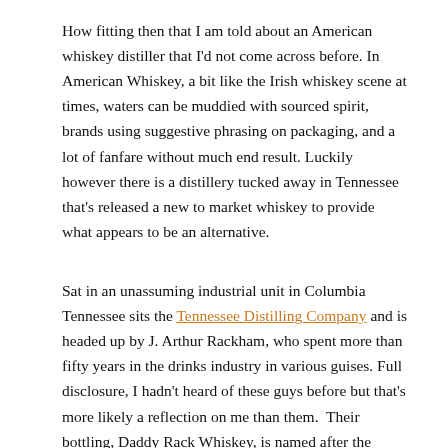How fitting then that I am told about an American whiskey distiller that I'd not come across before. In American Whiskey, a bit like the Irish whiskey scene at times, waters can be muddied with sourced spirit, brands using suggestive phrasing on packaging, and a lot of fanfare without much end result. Luckily however there is a distillery tucked away in Tennessee that's released a new to market whiskey to provide what appears to be an alternative.
Sat in an unassuming industrial unit in Columbia Tennessee sits the Tennessee Distilling Company and is headed up by J. Arthur Rackham, who spent more than fifty years in the drinks industry in various guises. Full disclosure, I hadn't heard of these guys before but that's more likely a reflection on me than them.  Their bottling, Daddy Rack Whiskey, is named after the nickname that J.